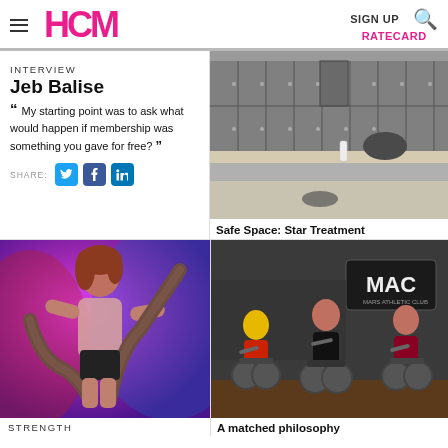HCM | SIGN UP | RATECARD
INTERVIEW
Jeb Balise
“ My starting point was to ask what would happen if membership was something you gave for free? ”
SHARE:
[Figure (photo): Locker room with grey metal lockers and a shelf, a bag and water bottle visible]
Safe Space: Star Treatment
[Figure (photo): Woman in purple/pink lighting doing battle rope exercise]
STRENGTH
[Figure (photo): Group of people cycling indoors at a cycling class, MAC club sign visible in background]
A matched philosophy